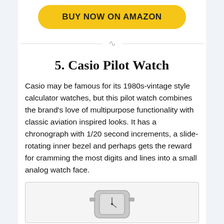BUY NOW ON AMAZON
5. Casio Pilot Watch
Casio may be famous for its 1980s-vintage style calculator watches, but this pilot watch combines the brand's love of multipurpose functionality with classic aviation inspired looks. It has a chronograph with 1/20 second increments, a slide-rotating inner bezel and perhaps gets the reward for cramming the most digits and lines into a small analog watch face.
[Figure (photo): Partial image of a Casio pilot watch, silver/metal, shown at the bottom of the page]